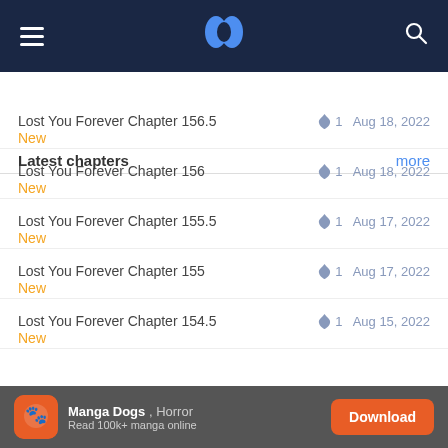Navigation bar with hamburger menu, N logo, and search icon
Latest chapters | more
Lost You Forever Chapter 156.5 | 🔥 1 | Aug 18, 2022 | New
Lost You Forever Chapter 156 | 🔥 1 | Aug 18, 2022 | New
Lost You Forever Chapter 155.5 | 🔥 1 | Aug 17, 2022 | New
Lost You Forever Chapter 155 | 🔥 1 | Aug 17, 2022 | New
Lost You Forever Chapter 154.5 | 🔥 1 | Aug 15, 2022 | New
Genres:
Manga Dogs · Horror · Read 100k+ manga online · Download